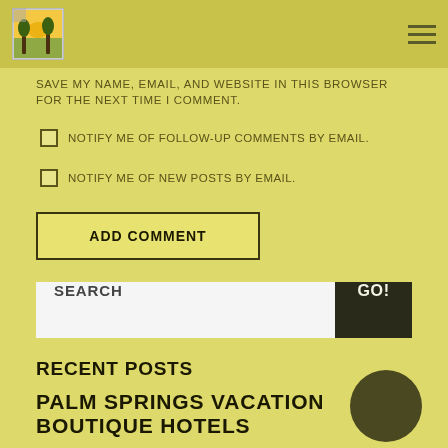SAVE MY NAME, EMAIL, AND WEBSITE IN THIS BROWSER FOR THE NEXT TIME I COMMENT.
NOTIFY ME OF FOLLOW-UP COMMENTS BY EMAIL.
NOTIFY ME OF NEW POSTS BY EMAIL.
ADD COMMENT
SEARCH
GO!
RECENT POSTS
PALM SPRINGS VACATION BOUTIQUE HOTELS